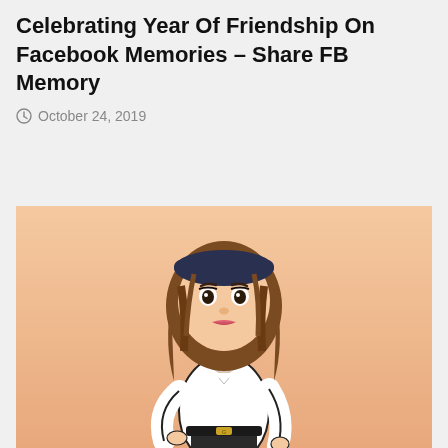Celebrating Year Of Friendship On Facebook Memories – Share FB Memory
October 24, 2019
[Figure (illustration): Cartoon avatar illustration of a young woman with brown shoulder-length hair, wearing a dark beret/headband, white long-sleeve crop top, and dark high-waisted jeans with a gold belt buckle, posed with one hand on hip, on a peach/salmon gradient background.]